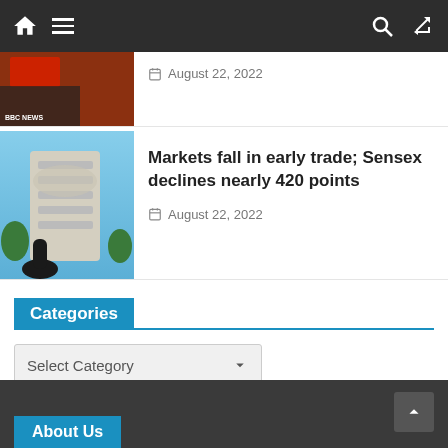Navigation bar with home, menu, search, and shuffle icons
August 22, 2022
Markets fall in early trade; Sensex declines nearly 420 points
August 22, 2022
Categories
Select Category
About Us